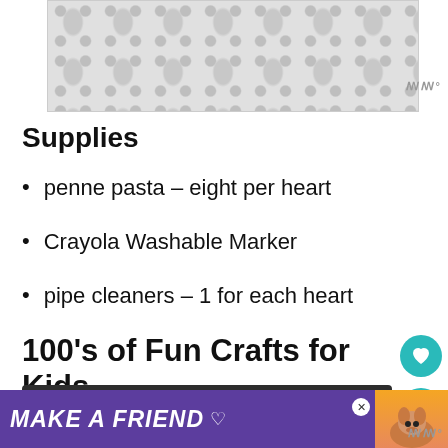[Figure (other): Advertisement banner with decorative polka-dot/hourglass pattern in light gray]
Supplies
penne pasta – eight per heart
Crayola Washable Marker
pipe cleaners – 1 for each heart
100's of Fun Crafts for Kids
[Figure (screenshot): Dark link bar reading '100's of Fun Crafts for Kids' with an external link icon]
[Figure (other): Bottom advertisement banner with purple background reading 'MAKE A FRIEND' with dog image]